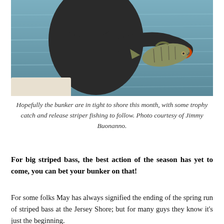[Figure (photo): A person in a dark hooded rain jacket holds a large striped bass fish over greenish water, appearing to release it. The person is leaning over the side of a boat.]
Hopefully the bunker are in tight to shore this month, with some trophy catch and release striper fishing to follow. Photo courtesy of Jimmy Buonanno.
For big striped bass, the best action of the season has yet to come, you can bet your bunker on that!
For some folks May has always signified the ending of the spring run of striped bass at the Jersey Shore; but for many guys they know it's just the beginning.